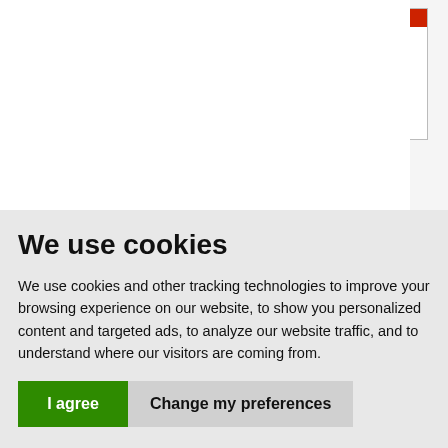[Figure (screenshot): Trend Micro Internet Security product card with screenshot, 3-star rating, and price. Partially visible on right side of page.]
We use cookies
We use cookies and other tracking technologies to improve your browsing experience on our website, to show you personalized content and targeted ads, to analyze our website traffic, and to understand where our visitors are coming from.
I agree | Change my preferences